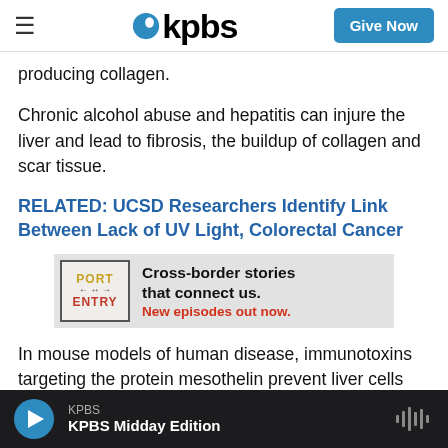kpbs | Give Now
producing collagen.
Chronic alcohol abuse and hepatitis can injure the liver and lead to fibrosis, the buildup of collagen and scar tissue.
RELATED: UCSD Researchers Identify Link Between Lack of UV Light, Colorectal Cancer
[Figure (other): Port of Entry podcast advertisement banner. Text reads: Cross-border stories that connect us. New episodes out now.]
In mouse models of human disease, immunotoxins targeting the protein mesothelin prevent liver cells
KPBS | KPBS Midday Edition